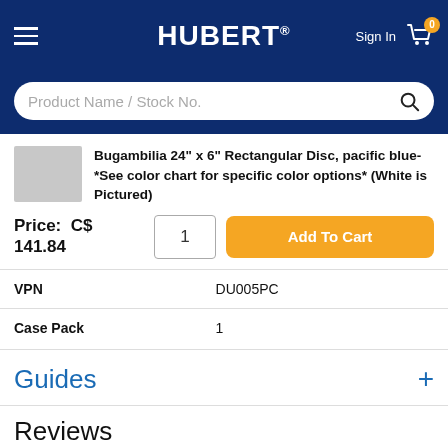HUBERT® Sign In [cart: 0]
Product Name / Stock No.
Bugambilia 24" x 6" Rectangular Disc, pacific blue-*See color chart for specific color options* (White is Pictured)
Price: C$ 141.84
| Field | Value |
| --- | --- |
| VPN | DU005PC |
| Case Pack | 1 |
Guides
Reviews